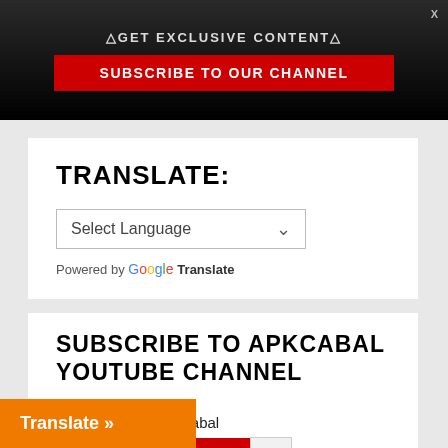△GET EXCLUSIVE CONTENT△
SUBSCRIBE TO OUR CHANNEL
TRANSLATE:
Select Language
Powered by Google Translate
SUBSCRIBE TO APKCABAL YOUTUBE CHANNEL
[Figure (logo): Apk Cabal logo with game controller icon and text APKCABAL]
Apk Cabal
YouTube 3K
Translate »